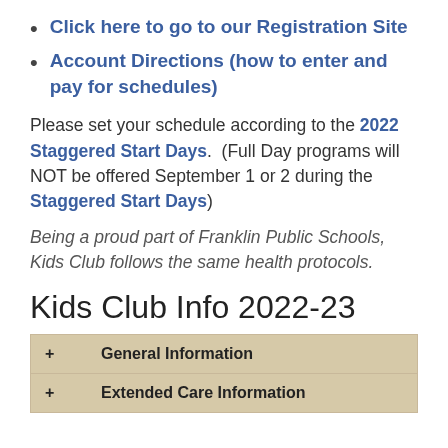Click here to go to our Registration Site
Account Directions (how to enter and pay for schedules)
Please set your schedule according to the 2022 Staggered Start Days.  (Full Day programs will NOT be offered September 1 or 2 during the Staggered Start Days)
Being a proud part of Franklin Public Schools, Kids Club follows the same health protocols.
Kids Club Info 2022-23
| + General Information |
| + Extended Care Information |